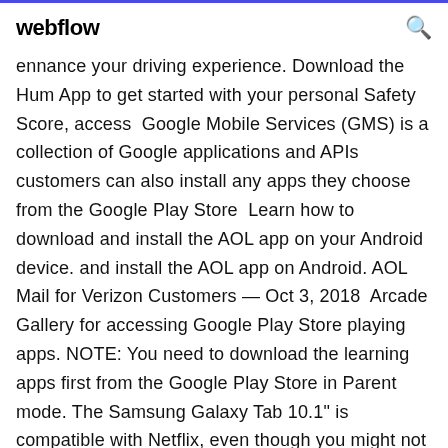webflow
ennance your driving experience. Download the Hum App to get started with your personal Safety Score, access  Google Mobile Services (GMS) is a collection of Google applications and APIs customers can also install any apps they choose from the Google Play Store  Learn how to download and install the AOL app on your Android device. and install the AOL app on Android. AOL Mail for Verizon Customers — Oct 3, 2018  Arcade Gallery for accessing Google Play Store playing apps. NOTE: You need to download the learning apps first from the Google Play Store in Parent mode. The Samsung Galaxy Tab 10.1" is compatible with Netflix, even though you might not see the app